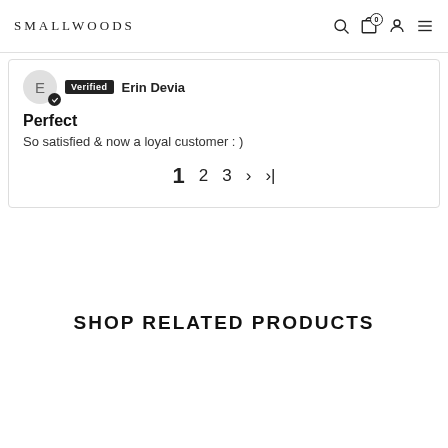SMALLWOODS
Verified  Erin Devia
Perfect
So satisfied & now a loyal customer : )
1  2  3  >  >|
SHOP RELATED PRODUCTS